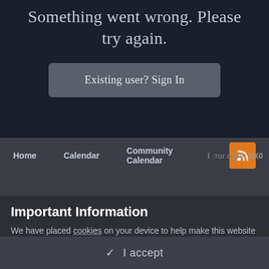Something went wrong. Please try again.
Existing user? Sign In
Home  Calendar  Community Calendar  [RSS]  Error code: EX0
Important Information
We have placed cookies on your device to help make this website better. You can adjust your cookie settings, otherwise we'll assume you're okay to continue. Guidelines Privacy Policy Terms of Use
✓ I accept